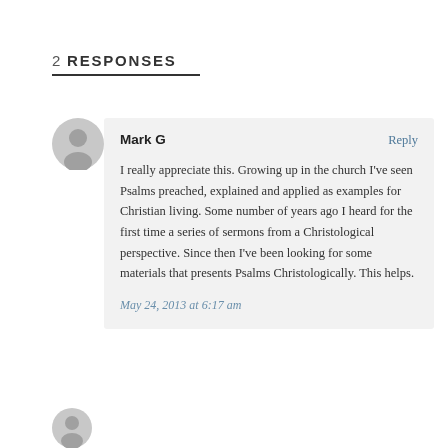2 RESPONSES
I really appreciate this. Growing up in the church I’ve seen Psalms preached, explained and applied as examples for Christian living. Some number of years ago I heard for the first time a series of sermons from a Christological perspective. Since then I’ve been looking for some materials that presents Psalms Christologically. This helps.
May 24, 2013 at 6:17 am